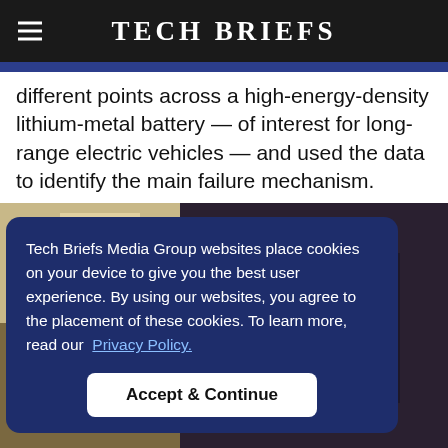Tech Briefs
different points across a high-energy-density lithium-metal battery — of interest for long-range electric vehicles — and used the data to identify the main failure mechanism.
[Figure (photo): Photo of a laboratory or office environment showing equipment, partially obscured by a cookie consent overlay.]
Tech Briefs Media Group websites place cookies on your device to give you the best user experience. By using our websites, you agree to the placement of these cookies. To learn more, read our Privacy Policy.
Accept & Continue